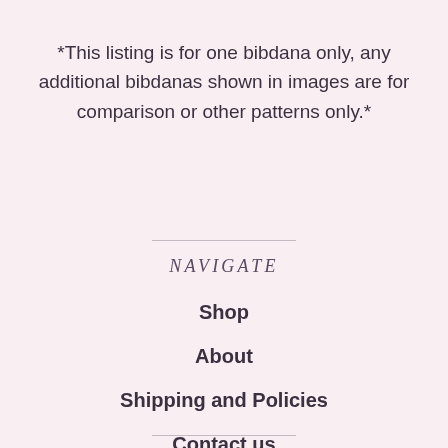*This listing is for one bibdana only, any additional bibdanas shown in images are for comparison or other patterns only.*
NAVIGATE
Shop
About
Shipping and Policies
Contact us